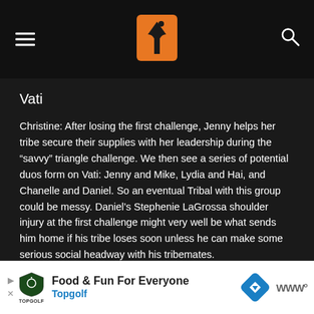Vati — [site logo and navigation bar]
Vati
Christine: After losing the first challenge, Jenny helps her tribe secure their supplies with her leadership during the “savvy” triangle challenge. We then see a series of potential duos form on Vati: Jenny and Mike, Lydia and Hai, and Chanelle and Daniel. So an eventual Tribal with this group could be messy. Daniel's Stephenie LaGrossa shoulder injury at the first challenge might very well be what sends him home if his tribe loses soon unless he can make some serious social headway with his tribemates.
[Figure (other): Advertisement banner for Topgolf: Food & Fun For Everyone with navigation arrow icon and Waze logo]